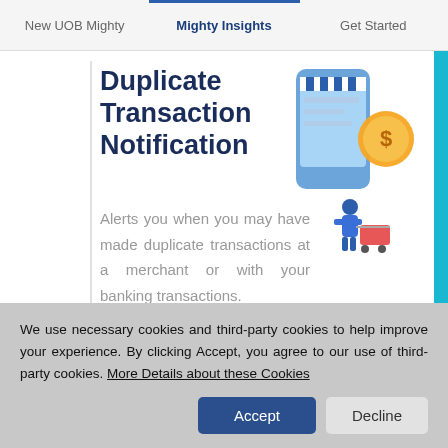New UOB Mighty  |  Mighty Insights  |  Get Started
Duplicate Transaction Notification
Alerts you when you may have made duplicate transactions at a merchant or with your banking transactions.
[Figure (illustration): Isometric illustration of a person with a smartphone showing a merchant storefront and a dollar coin, representing duplicate transaction notification feature.]
We use necessary cookies and third-party cookies to help improve your experience. By clicking Accept, you agree to our use of third-party cookies. More Details about these Cookies